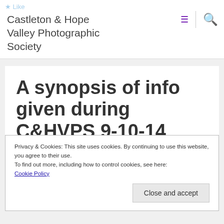Castleton & Hope Valley Photographic Society
A synopsis of info given during C&HVPS 9-10-14 meeting
Privacy & Cookies: This site uses cookies. By continuing to use this website, you agree to their use.
To find out more, including how to control cookies, see here:
Cookie Policy
Close and accept
Opening welcome